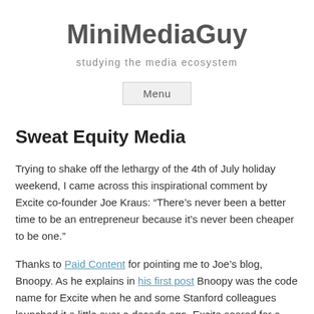MiniMediaGuy
studying the media ecosystem
Menu
Sweat Equity Media
Trying to shake off the lethargy of the 4th of July holiday weekend, I came across this inspirational comment by Excite co-founder Joe Kraus: “There’s never been a better time to be an entrepreneur because it’s never been cheaper to be one.”
Thanks to Paid Content for pointing me to Joe’s blog, Bnoopy. As he explains in his first post Bnoopy was the code name for Excite when he and some Stanford colleagues launched it a little over a decade ago. Excite soared for a time